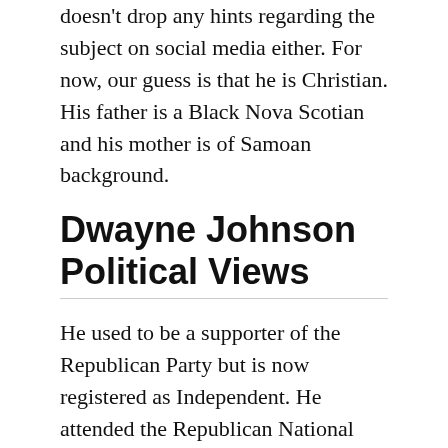doesn't drop any hints regarding the subject on social media either. For now, our guess is that he is Christian. His father is a Black Nova Scotian and his mother is of Samoan background.
Dwayne Johnson Political Views
He used to be a supporter of the Republican Party but is now registered as Independent. He attended the Republican National Convention in 2000 and 2004. In recent times, he hasn't made any remotely political statement and his social media profiles are filled